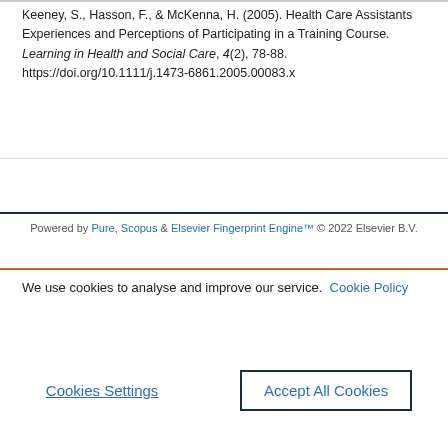Keeney, S., Hasson, F., & McKenna, H. (2005). Health Care Assistants Experiences and Perceptions of Participating in a Training Course. Learning in Health and Social Care, 4(2), 78-88. https://doi.org/10.1111/j.1473-6861.2005.00083.x
Powered by Pure, Scopus & Elsevier Fingerprint Engine™ © 2022 Elsevier B.V.
We use cookies to analyse and improve our service. Cookie Policy
Cookies Settings    Accept All Cookies